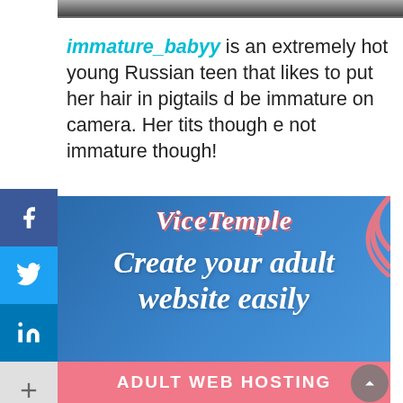[Figure (screenshot): Top portion of a webpage showing a video thumbnail strip at the top]
immature_babyy is an extremely hot young Russian teen that likes to put her hair in pigtails and be immature on camera. Her tits though are not immature though!
[Figure (infographic): ViceTemple advertisement banner: blue background with coral decorative curves, ViceTemple logo in italic script, tagline 'Create your adult website easily', pink bottom bar reading 'ADULT WEB HOSTING']
[Figure (other): Social media share sidebar buttons: Facebook, Twitter, LinkedIn, More (+)]